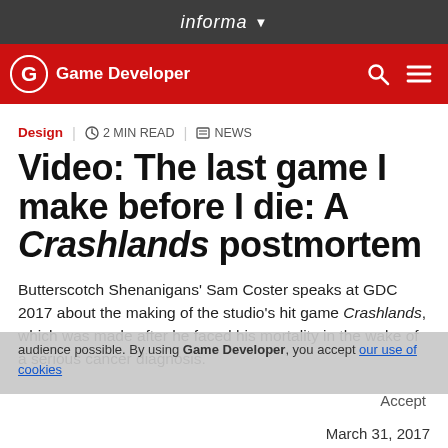informa
Game Developer
Design | 2 MIN READ | NEWS
Video: The last game I make before I die: A Crashlands postmortem
Butterscotch Shenanigans' Sam Coster speaks at GDC 2017 about the making of the studio's hit game Crashlands, which was made after he faced his mortality in the wake of a serious cancer diagnosis.
By using Game Developer, you accept our use of cookies
Accept
March 31, 2017